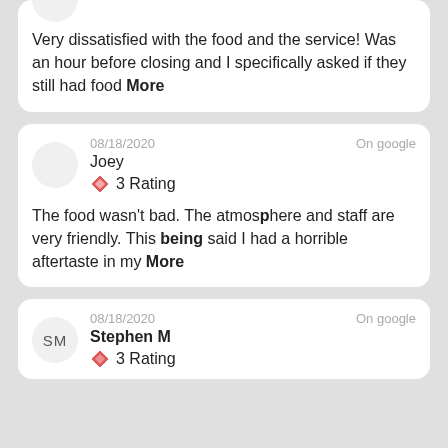Very dissatisfied with the food and the service! Was an hour before closing and I specifically asked if they still had food More
08/18/2020  On google
Joey
3 Rating
The food wasn't bad. The atmosphere and staff are very friendly. This being said I had a horrible aftertaste in my More
08/18/2020  On google
Stephen M
3 Rating